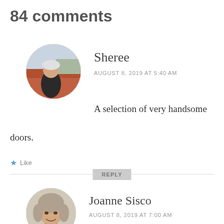84 comments
Sheree
AUGUST 8, 2019 AT 5:40 AM

A selection of very handsome doors.
★ Like
REPLY
Joanne Sisco
AUGUST 8, 2019 AT 7:00 AM